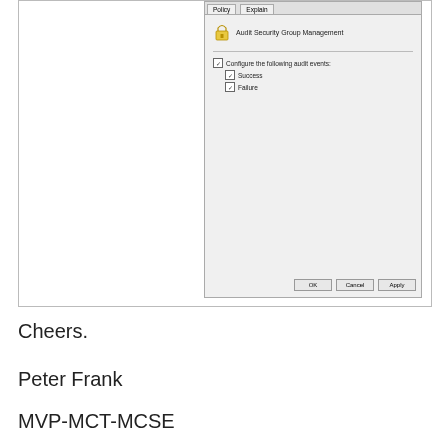[Figure (screenshot): Windows dialog box screenshot: 'Audit Security Group Management' properties dialog. Shows Policy and Explain tabs. Contains icon, title 'Audit Security Group Management', checkbox 'Configure the following audit events:' with sub-checkboxes 'Success' (checked) and 'Failure' (checked). OK, Cancel, and Apply buttons at bottom.]
Cheers.
Peter Frank
MVP-MCT-MCSE